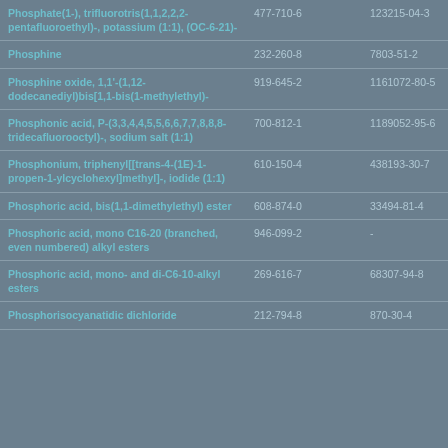| Phosphate(1-), trifluorotris(1,1,2,2,2-pentafluoroethyl)-, potassium (1:1), (OC-6-21)- | 477-710-6 | 123215-04-3 |
| Phosphine | 232-260-8 | 7803-51-2 |
| Phosphine oxide, 1,1'-(1,12-dodecanediyl)bis[1,1-bis(1-methylethyl)- | 919-645-2 | 1161072-80-5 |
| Phosphonic acid, P-(3,3,4,4,5,5,6,6,7,7,8,8,8-tridecafluorooctyl)-, sodium salt (1:1) | 700-812-1 | 1189052-95-6 |
| Phosphonium, triphenyl[[trans-4-(1E)-1-propen-1-ylcyclohexyl]methyl]-, iodide (1:1) | 610-150-4 | 438193-30-7 |
| Phosphoric acid, bis(1,1-dimethylethyl) ester | 608-874-0 | 33494-81-4 |
| Phosphoric acid, mono C16-20 (branched, even numbered) alkyl esters | 946-099-2 | - |
| Phosphoric acid, mono- and di-C6-10-alkyl esters | 269-616-7 | 68307-94-8 |
| Phosphorisocyanatidic dichloride | 212-794-8 | 870-30-4 |